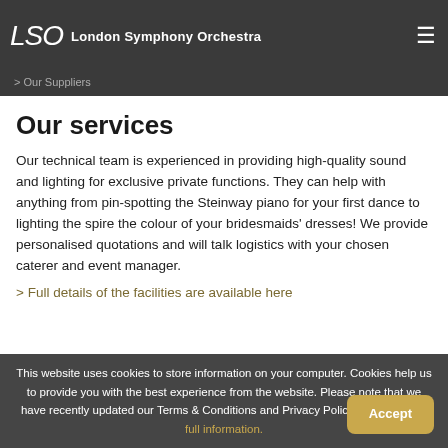London Symphony Orchestra
> Our Suppliers
Our services
Our technical team is experienced in providing high-quality sound and lighting for exclusive private functions. They can help with anything from pin-spotting the Steinway piano for your first dance to lighting the spire the colour of your bridesmaids' dresses! We provide personalised quotations and will talk logistics with your chosen caterer and event manager.
> Full details of the facilities are available here
This website uses cookies to store information on your computer. Cookies help us to provide you with the best experience from the website. Please note that we have recently updated our Terms & Conditions and Privacy Policy. Click here for full information.